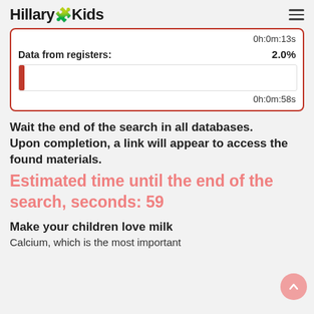Hillary Kids
0h:0m:13s
Data from registers: 2.0%
0h:0m:58s
Wait the end of the search in all databases. Upon completion, a link will appear to access the found materials.
Estimated time until the end of the search, seconds: 59
Make your children love milk
Calcium, which is the most important